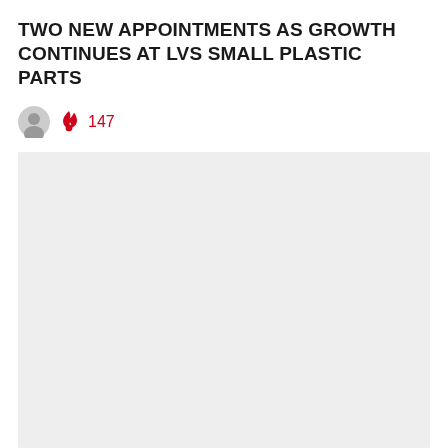TWO NEW APPOINTMENTS AS GROWTH CONTINUES AT LVS SMALL PLASTIC PARTS
[Figure (photo): Gray rectangular placeholder image area below the article title and metadata row]